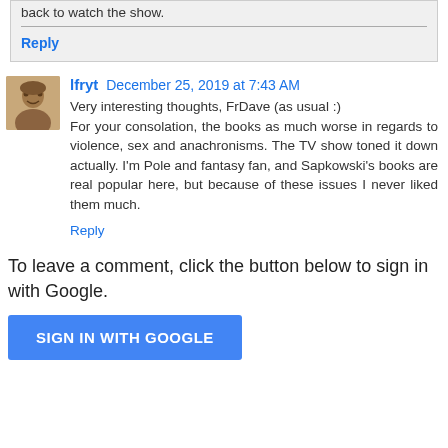back to watch the show.
Reply
lfryt December 25, 2019 at 7:43 AM
Very interesting thoughts, FrDave (as usual :)
For your consolation, the books as much worse in regards to violence, sex and anachronisms. The TV show toned it down actually. I'm Pole and fantasy fan, and Sapkowski's books are real popular here, but because of these issues I never liked them much.
Reply
To leave a comment, click the button below to sign in with Google.
SIGN IN WITH GOOGLE